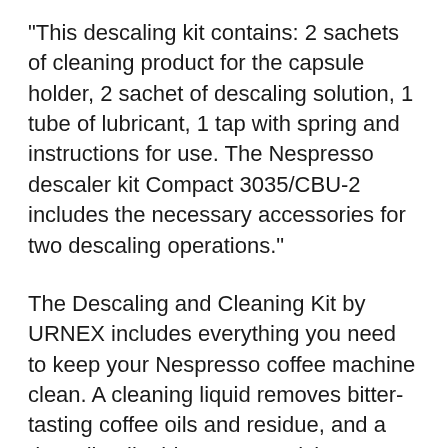"This descaling kit contains: 2 sachets of cleaning product for the capsule holder, 2 sachet of descaling solution, 1 tube of lubricant, 1 tap with spring and instructions for use. The Nespresso descaler kit Compact 3035/CBU-2 includes the necessary accessories for two descaling operations."
The Descaling and Cleaning Kit by URNEX includes everything you need to keep your Nespresso coffee machine clean. A cleaning liquid removes bitter-tasting coffee oils and residue, and a descaling liquid removes calcium deposits and lime scale build up. Nespresso Descaling Instructions U Read/Download They also recommend